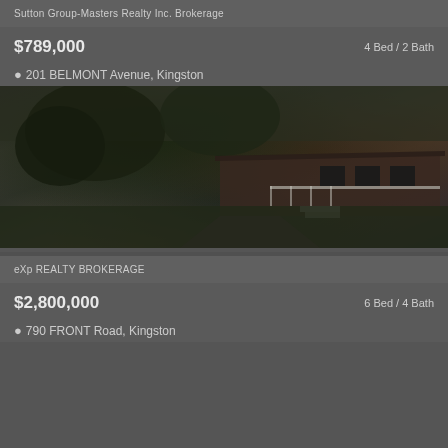Sutton Group-Masters Realty Inc. Brokerage
$789,000
4 Bed / 2 Bath
201 BELMONT Avenue, Kingston
[Figure (photo): Exterior photo of a brick bungalow at 201 Belmont Avenue, Kingston, showing a front lawn with large trees, white porch railing, steps leading to front door, and driveway]
eXp REALTY BROKERAGE
$2,800,000
6 Bed / 4 Bath
790 FRONT Road, Kingston